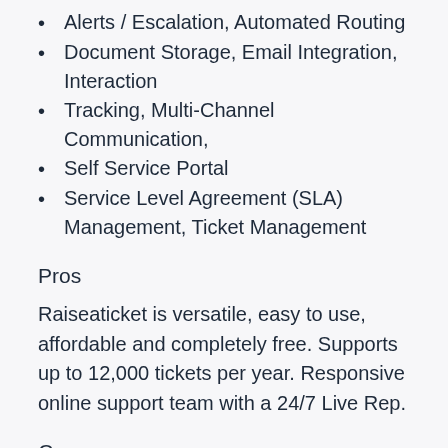Alerts / Escalation, Automated Routing
Document Storage, Email Integration, Interaction
Tracking, Multi-Channel Communication,
Self Service Portal
Service Level Agreement (SLA) Management, Ticket Management
Pros
Raiseaticket is versatile, easy to use, affordable and completely free. Supports up to 12,000 tickets per year. Responsive online support team with a 24/7 Live Rep.
Cons
The software presents few minor bugs and the